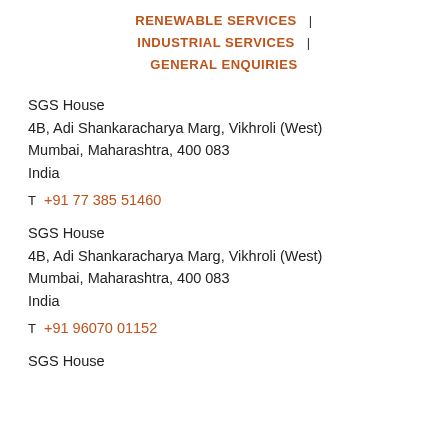RENEWABLE SERVICES  |
INDUSTRIAL SERVICES  |
GENERAL ENQUIRIES
SGS House
4B, Adi Shankaracharya Marg, Vikhroli (West)
Mumbai, Maharashtra, 400 083
India
T  +91 77 385 51460
SGS House
4B, Adi Shankaracharya Marg, Vikhroli (West)
Mumbai, Maharashtra, 400 083
India
T  +91 96070 01152
SGS House